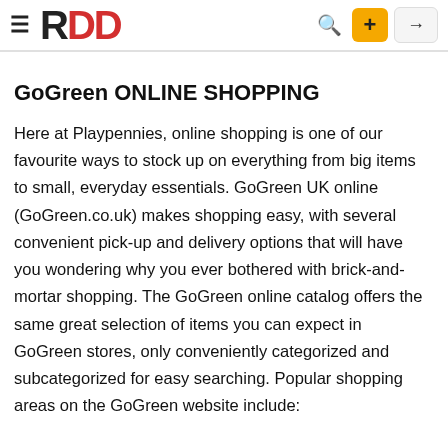RDD logo navigation bar with hamburger menu, search icon, plus button, and login button
GoGreen ONLINE SHOPPING
Here at Playpennies, online shopping is one of our favourite ways to stock up on everything from big items to small, everyday essentials. GoGreen UK online (GoGreen.co.uk) makes shopping easy, with several convenient pick-up and delivery options that will have you wondering why you ever bothered with brick-and-mortar shopping. The GoGreen online catalog offers the same great selection of items you can expect in GoGreen stores, only conveniently categorized and subcategorized for easy searching. Popular shopping areas on the GoGreen website include: